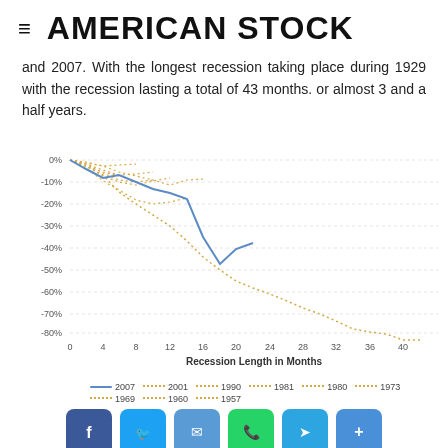AMERICAN STOCK
and 2007. With the longest recession taking place during 1929 with the recession lasting a total of 43 months. or almost 3 and a half years.
[Figure (line-chart): Line chart showing S&P 500 performance during recession periods. Two series visible: a solid blue line (2007) and dotted orange/gold lines for earlier recessions (2001, 1990, 1981, 1980, 1973, 1969, 1960, 1957). Y-axis from 0% to -80%, X-axis from 0 to 40+ months.]
S&P 500 performance during recession periods